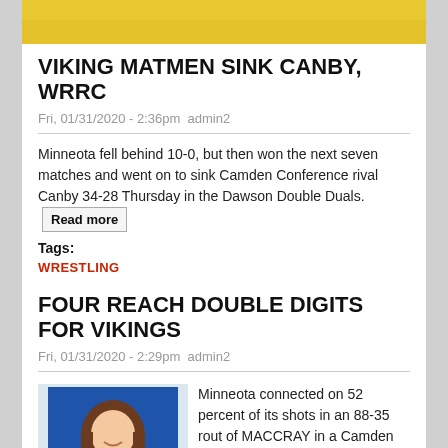[Figure (photo): Top portion of a sports/action photo with yellow/gold background, partially cropped]
VIKING MATMEN SINK CANBY, WRRC
Fri, 01/31/2020 - 2:36pm  admin2
Minneota fell behind 10-0, but then won the next seven matches and went on to sink Camden Conference rival Canby 34-28 Thursday in the Dawson Double Duals.  Read more
Tags:
WRESTLING
FOUR REACH DOUBLE DIGITS FOR VIKINGS
Fri, 01/31/2020 - 2:29pm  admin2
[Figure (photo): Photo of a young female basketball player with long brown hair, wearing a blue and gold Vikings uniform, smiling, with a blue background]
Minneota connected on 52 percent of its shots in an 88-35 rout of MACCRAY in a Camden Conference girls